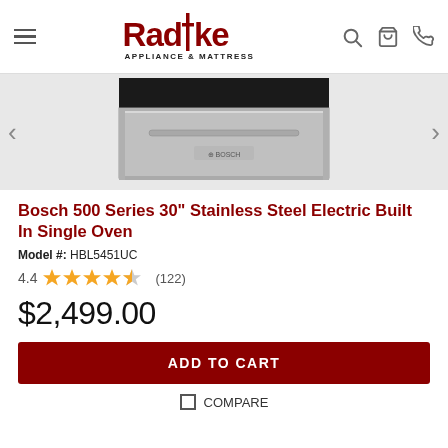Radtke Appliance & Mattress
[Figure (photo): Bosch 500 Series 30 inch stainless steel electric built-in single oven, showing the lower portion of the oven with stainless steel front panel and black glass door]
Bosch 500 Series 30" Stainless Steel Electric Built In Single Oven
Model #: HBL5451UC
4.4 ★★★★☆ (122)
$2,499.00
ADD TO CART
COMPARE